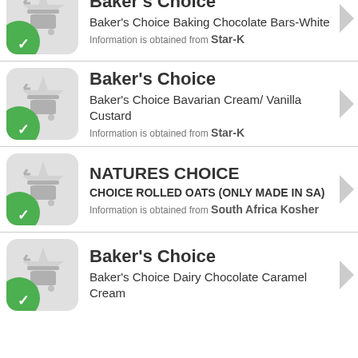Baker's Choice | Baker's Choice Baking Chocolate Bars-White | Information is obtained from Star-K
Baker's Choice | Baker's Choice Bavarian Cream/ Vanilla Custard | Information is obtained from Star-K
NATURES CHOICE | CHOICE ROLLED OATS (ONLY MADE IN SA) | Information is obtained from South Africa Kosher
Baker's Choice | Baker's Choice Dairy Chocolate Caramel Cream | Information is obtained from ...